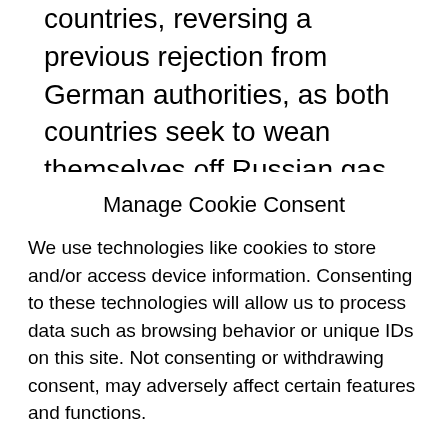countries, reversing a previous rejection from German authorities, as both countries seek to wean themselves off Russian gas.
Kazakhstan Renames Its Crude to Minimize Risk. Kazakhstan is changing the
Manage Cookie Consent
We use technologies like cookies to store and/or access device information. Consenting to these technologies will allow us to process data such as browsing behavior or unique IDs on this site. Not consenting or withdrawing consent, may adversely affect certain features and functions.
Accept
Cookie Policy